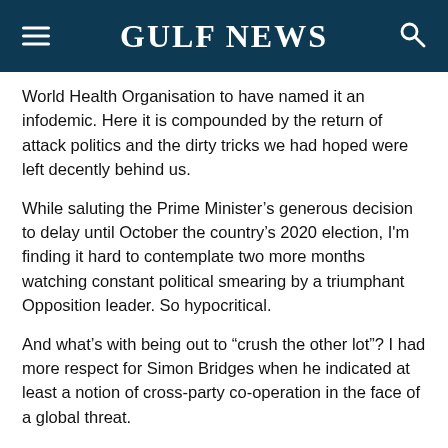Gulf News
World Health Organisation to have named it an infodemic. Here it is compounded by the return of attack politics and the dirty tricks we had hoped were left decently behind us.
While saluting the Prime Minister’s generous decision to delay until October the country’s 2020 election, I'm finding it hard to contemplate two more months watching constant political smearing by a triumphant Opposition leader. So hypocritical.
And what’s with being out to “crush the other lot”? I had more respect for Simon Bridges when he indicated at least a notion of cross-party co-operation in the face of a global threat.
International investigative journalist Nicky Hager’s 2014 book Dirty Politics was subtitled “How attack politics is poisoning New Zealand’s political environment” for good reason. It was a